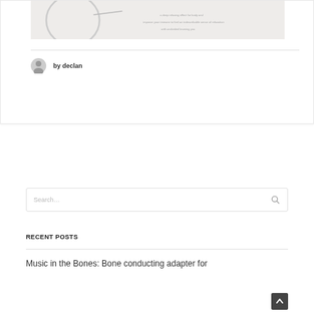[Figure (screenshot): A card showing a product image (light gray background with earphone/cable visible) and small overlay text on the right side]
by declan
Search…
RECENT POSTS
Music in the Bones: Bone conducting adapter for